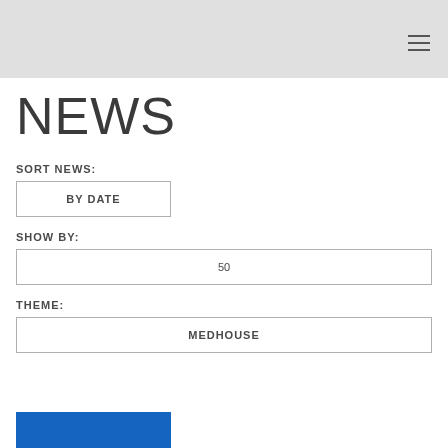NEWS
SORT NEWS:
BY DATE
SHOW BY:
50
THEME:
MEDHOUSE